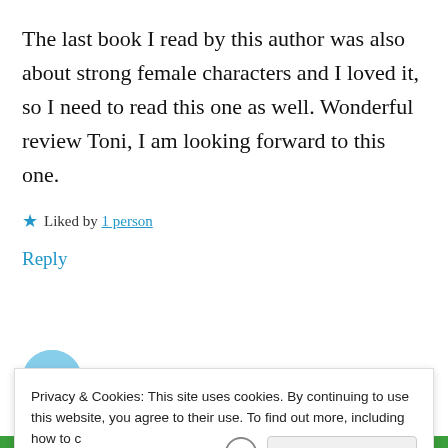The last book I read by this author was also about strong female characters and I loved it, so I need to read this one as well. Wonderful review Toni, I am looking forward to this one.
★ Liked by 1 person
Reply
[Figure (other): User avatar circle with mountain/landscape image and blue verified checkmark badge, next to username 'happytonic' in bold blue text]
Privacy & Cookies: This site uses cookies. By continuing to use this website, you agree to their use. To find out more, including how to control cookies, see here: Cookie Policy